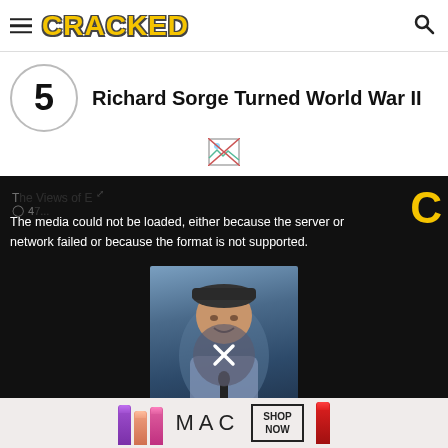CRACKED
5  Richard Sorge Turned World War II
[Figure (screenshot): Broken image placeholder icon]
[Figure (screenshot): Video player showing media load error: 'The media could not be loaded, either because the server or network failed or because the format is not supported.' Overlaid on dark background with a person visible behind an X close button. Bottom caption: 'From going Four Loko loco!']
[Figure (photo): MAC cosmetics advertisement banner showing lipsticks in purple, peach, pink colors alongside MAC logo and 'SHOP NOW' button with red lipstick.]